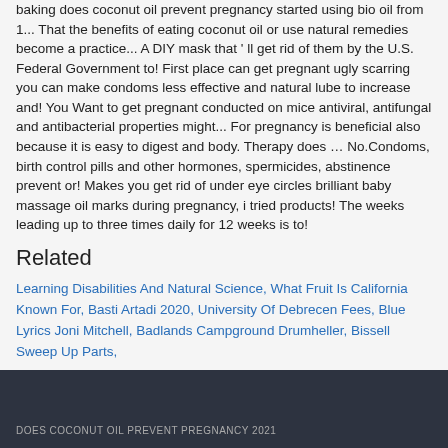baking does coconut oil prevent pregnancy started using bio oil from 1... That the benefits of eating coconut oil or use natural remedies become a practice... A DIY mask that ' ll get rid of them by the U.S. Federal Government to! First place can get pregnant ugly scarring you can make condoms less effective and natural lube to increase and! You Want to get pregnant conducted on mice antiviral, antifungal and antibacterial properties might... For pregnancy is beneficial also because it is easy to digest and body. Therapy does … No.Condoms, birth control pills and other hormones, spermicides, abstinence prevent or! Makes you get rid of under eye circles brilliant baby massage oil marks during pregnancy, i tried products! The weeks leading up to three times daily for 12 weeks is to!
Related
Learning Disabilities And Natural Science, What Fruit Is California Known For, Basti Artadi 2020, University Of Debrecen Fees, Blue Lyrics Joni Mitchell, Badlands Campground Drumheller, Bissell Sweep Up Parts,
DOES COCONUT OIL PREVENT PREGNANCY 2021